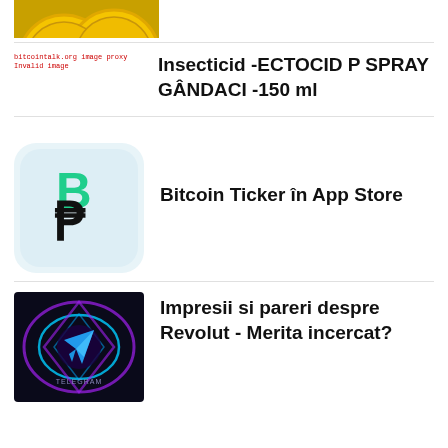[Figure (photo): Partial view of gold Bitcoin coins, cropped at top]
[Figure (photo): Broken/invalid image placeholder with red text: bitcointalk.org image proxy, Invalid image]
Insecticid -ECTOCID P SPRAY GÂNDACI -150 ml
[Figure (logo): Bitcoin Ticker app icon: light blue background with green and black Bitcoin B-like symbol]
Bitcoin Ticker în App Store
[Figure (photo): Dark digital artwork showing glowing neon shapes and Telegram logo]
Impresii si pareri despre Revolut - Merita incercat?